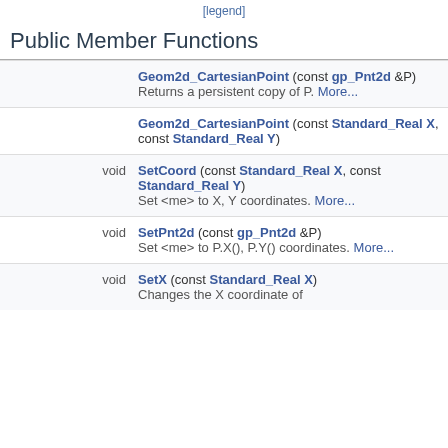[legend]
Public Member Functions
| Return | Function |
| --- | --- |
|  | Geom2d_CartesianPoint (const gp_Pnt2d &P)
Returns a persistent copy of P. More... |
|  | Geom2d_CartesianPoint (const Standard_Real X, const Standard_Real Y) |
| void | SetCoord (const Standard_Real X, const Standard_Real Y)
Set <me> to X, Y coordinates. More... |
| void | SetPnt2d (const gp_Pnt2d &P)
Set <me> to P.X(), P.Y() coordinates. More... |
| void | SetX (const Standard_Real X)
Changes the X coordinate of |